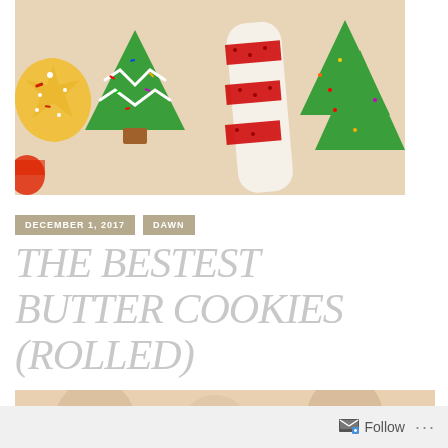[Figure (photo): Decorated Christmas sugar cookies with colorful icing — green Christmas tree cookies with sprinkles and white icing designs, a candy cane shaped cookie with red sugar sprinkles on white icing, and yellow star cookies, all on a light surface.]
DECEMBER 1, 2017
DAWN
THE BESTEST BUTTER COOKIES (ROLLED)
[Figure (photo): Partial view of another cookies photo at the bottom of the page, cropped.]